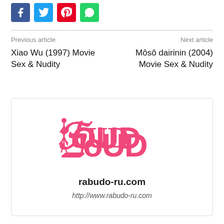[Figure (logo): Social share buttons: Facebook (blue), Twitter (cyan), Pinterest (red), WhatsApp (green)]
Previous article
Next article
Xiao Wu (1997) Movie Sex & Nudity
Môsô dairinin (2004) Movie Sex & Nudity
[Figure (logo): ROUD logo in pink with stylized female figure, site name rabudo-ru.com and URL http://www.rabudo-ru.com]
rabudo-ru.com
http://www.rabudo-ru.com